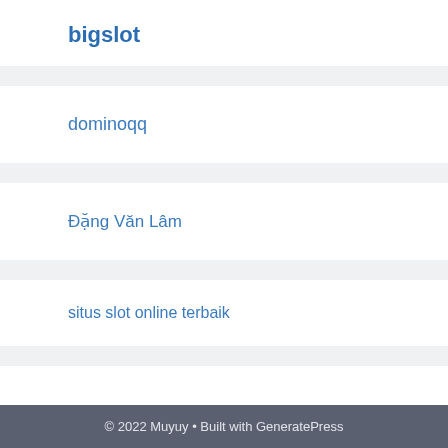bigslot
dominoqq
Đặng Văn Lâm
situs slot online terbaik
© 2022 Muyuy • Built with GeneratePress